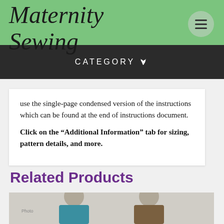Maternity Sewing
CATEGORY
use the single-page condensed version of the instructions which can be found at the end of instructions document. Click on the “Additional Information” tab for sizing, pattern details, and more.
Related Products
[Figure (photo): Two women posing, one wearing a teal top and glasses, the other wearing a leopard print top with purple hair and glasses, against a light grey background.]